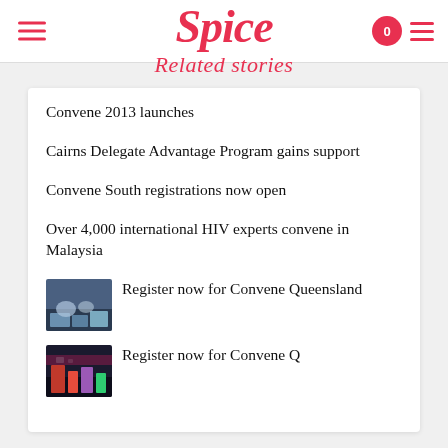Spice
Related stories
Convene 2013 launches
Cairns Delegate Advantage Program gains support
Convene South registrations now open
Over 4,000 international HIV experts convene in Malaysia
Register now for Convene Queensland
Register now for Convene Q